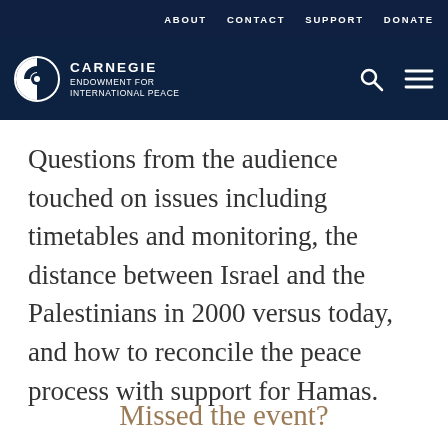ABOUT   CONTACT   SUPPORT   DONATE
[Figure (logo): Carnegie Endowment for International Peace logo with navigation icons (search, menu)]
Questions from the audience touched on issues including timetables and monitoring, the distance between Israel and the Palestinians in 2000 versus today, and how to reconcile the peace process with support for Hamas.
Missed the event?